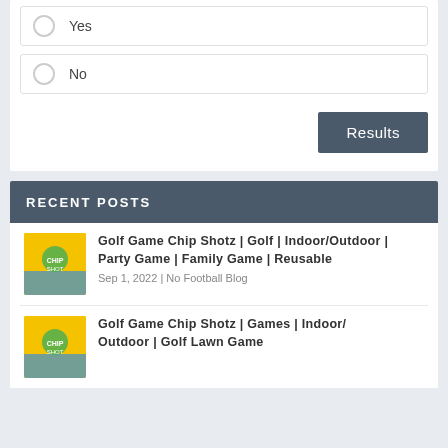Yes
No
Results
RECENT POSTS
Golf Game Chip Shotz | Golf | Indoor/Outdoor | Party Game | Family Game | Reusable
Sep 1, 2022 | No Football Blog
Golf Game Chip Shotz | Games | Indoor/Outdoor | Golf Lawn Game